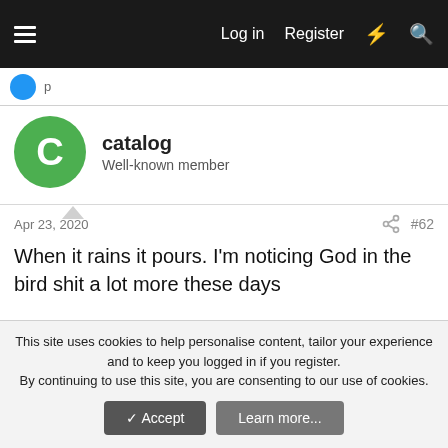Log in  Register
catalog
Well-known member
Apr 23, 2020  #62
When it rains it pours. I'm noticing God in the bird shit a lot more these days
[Figure (photo): Photo of bird droppings on dark pavement, the splatter pattern creates an abstract white shape resembling a figure]
This site uses cookies to help personalise content, tailor your experience and to keep you logged in if you register.
By continuing to use this site, you are consenting to our use of cookies.